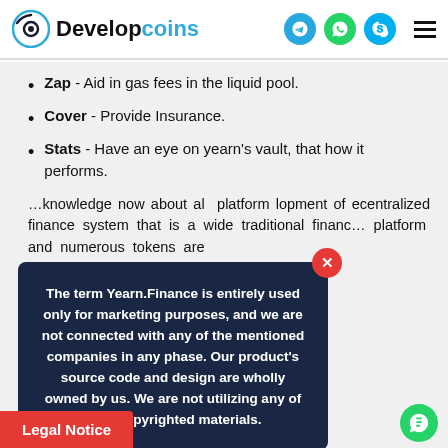Developcoins
Zap - Aid in gas fees in the liquid pool.
Cover - Provide Insurance.
Stats - Have an eye on yearn's vault, that how it performs.
The term Yearn.Finance is entirely used only for marketing purposes, and we are not connected with any of the mentioned companies in any phase. Our product's source code and design are wholly owned by us. We are not utilizing any of their copyrighted materials.
...knowledge now about al platform lopment of ecentralized finance system that is a wide traditional finance platform and numerous tokens are
Legal Notice